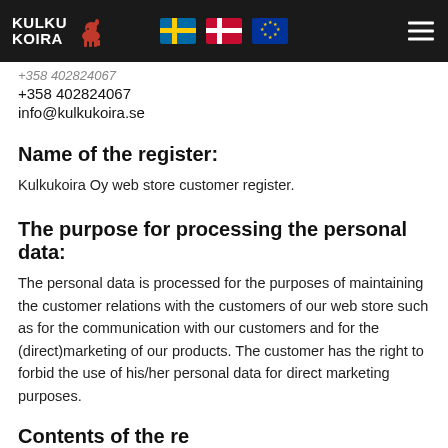KULKU KOIRA [logo with flags and hamburger menu]
+358 402824067
info@kulkukoira.se
Name of the register:
Kulkukoira Oy web store customer register.
The purpose for processing the personal data:
The personal data is processed for the purposes of maintaining the customer relations with the customers of our web store such as for the communication with our customers and for the (direct)marketing of our products. The customer has the right to forbid the use of his/her personal data for direct marketing purposes.
Contents of the register: